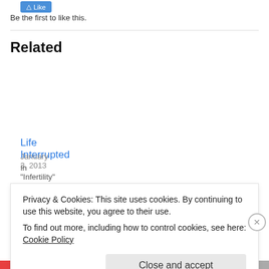[Figure (other): Like button (blue)]
Be the first to like this.
Related
Life Interrupted
January 3, 2013
In "Infertility"
Weaning Complete
July 16, 2012
In "Bryson"
Who Knew?
December 4, 2012
Privacy & Cookies: This site uses cookies. By continuing to use this website, you agree to their use.
To find out more, including how to control cookies, see here: Cookie Policy